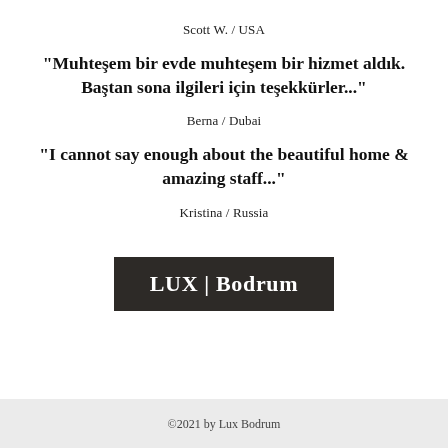Scott W. / USA
“Muhteşem bir evde muhteşem bir hizmet aldık. Baştan sona ilgileri için teşekkürler...”
Berna / Dubai
“I cannot say enough about the beautiful home & amazing staff...”
Kristina / Russia
[Figure (logo): Dark rectangular logo box with white text reading LUX | Bodrum]
©2021 by Lux Bodrum